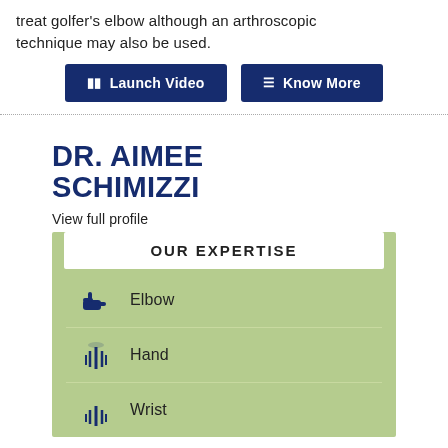treat golfer's elbow although an arthroscopic technique may also be used.
[Figure (screenshot): Two dark navy blue buttons: 'Launch Video' with a video camera icon and 'Know More' with a menu icon]
DR. AIMEE SCHIMIZZI
View full profile
| OUR EXPERTISE |
| --- |
| Elbow |
| Hand |
| Wrist |